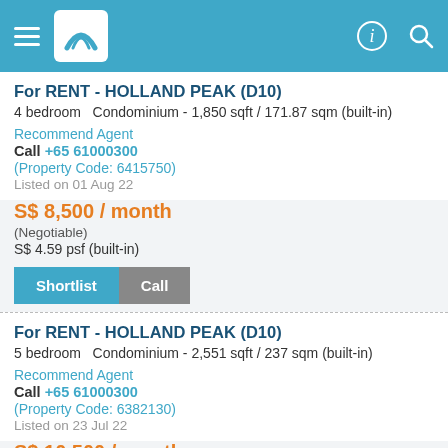Navigation header with hamburger menu, logo, and search/profile icons
For RENT - HOLLAND PEAK (D10)
4 bedroom  Condominium - 1,850 sqft / 171.87 sqm (built-in)
Recommend Agent
Call +65 61000300
(Property Code: 6415750)
Listed on 01 Aug 22
S$ 8,500 / month
(Negotiable)
S$ 4.59 psf (built-in)
For RENT - HOLLAND PEAK (D10)
5 bedroom  Condominium - 2,551 sqft / 237 sqm (built-in)
Recommend Agent
Call +65 61000300
(Property Code: 6382130)
Listed on 23 Jul 22
S$ 10,500 / month
(Negotiable)
S$ 4.12 psf (built-in)